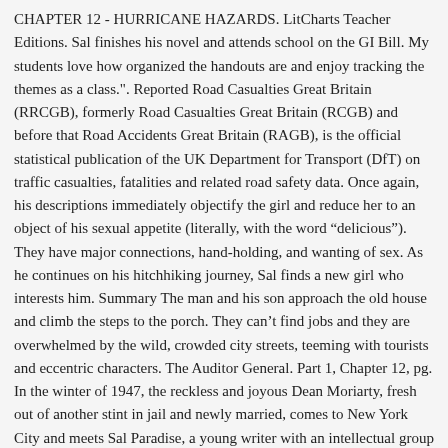CHAPTER 12 - HURRICANE HAZARDS. LitCharts Teacher Editions. Sal finishes his novel and attends school on the GI Bill. My students love how organized the handouts are and enjoy tracking the themes as a class.". Reported Road Casualties Great Britain (RRCGB), formerly Road Casualties Great Britain (RCGB) and before that Road Accidents Great Britain (RAGB), is the official statistical publication of the UK Department for Transport (DfT) on traffic casualties, fatalities and related road safety data. Once again, his descriptions immediately objectify the girl and reduce her to an object of his sexual appetite (literally, with the word “delicious”). They have major connections, hand-holding, and wanting of sex. As he continues on his hitchhiking journey, Sal finds a new girl who interests him. Summary The man and his son approach the old house and climb the steps to the porch. They can’t find jobs and they are overwhelmed by the wild, crowded city streets, teeming with tourists and eccentric characters. The Auditor General. Part 1, Chapter 12, pg. In the winter of 1947, the reckless and joyous Dean Moriarty, fresh out of another stint in jail and newly married, comes to New York City and meets Sal Paradise, a young writer with an intellectual group of friends, among them the poet Carlo Marx. Chapter Summary for Jack Kerouac's On the Road, part 1 chapter 11 summary. Into the Wild is the true story of Chris McCandless, a young Emory graduate who is found dead in the